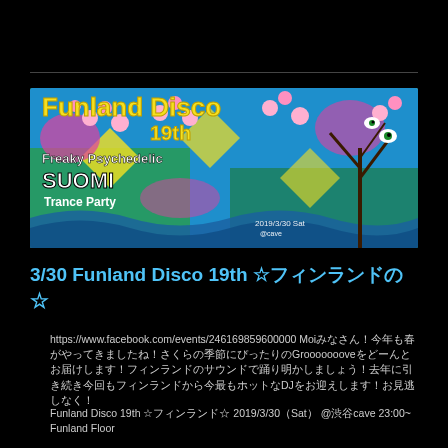[Figure (illustration): Funland Disco 19th event flyer with colorful psychedelic art featuring cherry blossoms, abstract patterns in blue, green, pink and yellow. Text reads: Funland Disco 19th, Freaky Psychedelic SUOMI Trance Party, 2019/3/30 Sat, @cave]
3/30 Funland Disco 19th ☆フィンランドの☆
https://www.facebook.com/events/246169859600000 Moiみなさん！今年も春がやってきましたね！さくらの季節にぴったりのGroooooooveをどーんとお届けします！フィンランドのサウンドで踊り明かしましょう！去年に引き続き今回もフィンランドから今最もホットなDJをお迎えします！お見逃しなく！
Funland Disco 19th  ☆フィンランド☆ 2019/3/30（Sat） @渋谷cave 23:00~ Funland Floor